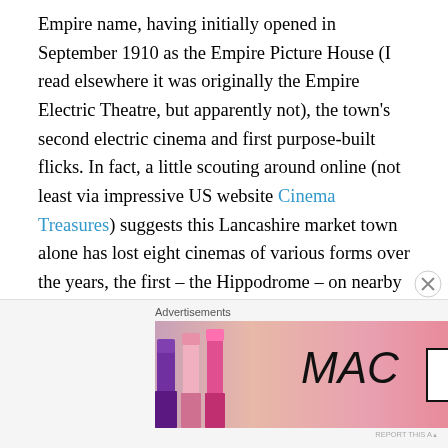Empire name, having initially opened in September 1910 as the Empire Picture House (I read elsewhere it was originally the Empire Electric Theatre, but apparently not), the town's second electric cinema and first purpose-built flicks. In fact, a little scouting around online (not least via impressive US website Cinema Treasures) suggests this Lancashire market town alone has lost eight cinemas of various forms over the years, the first – the Hippodrome – on nearby Gillibrand Street built and opened in 1909, converted into a supermarket by the late-'60s, that also now gone, its land reduced to car parking space opposite one of Chorley Theatre's two ticket outlets, the Ebb & Flo bookshop.
Advertisements
[Figure (photo): MAC cosmetics advertisement showing lipsticks in purple, pink, hot pink and red shades with the MAC logo and a SHOP NOW button]